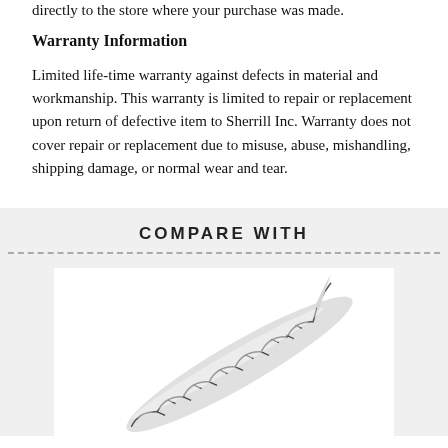directly to the store where your purchase was made.
Warranty Information
Limited life-time warranty against defects in material and workmanship. This warranty is limited to repair or replacement upon return of defective item to Sherrill Inc. Warranty does not cover repair or replacement due to misuse, abuse, mishandling, shipping damage, or normal wear and tear.
COMPARE WITH
[Figure (photo): A serrated kitchen knife shown diagonally against a white background inside a product comparison section.]